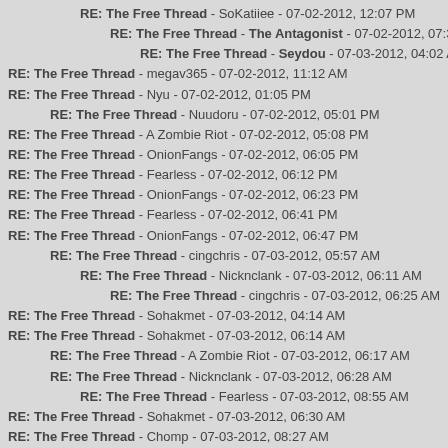RE: The Free Thread - SoKatiiee - 07-02-2012, 12:07 PM
RE: The Free Thread - The Antagonist - 07-02-2012, 07:30 PM
RE: The Free Thread - Seydou - 07-03-2012, 04:02 AM
RE: The Free Thread - megav365 - 07-02-2012, 11:12 AM
RE: The Free Thread - Nyu - 07-02-2012, 01:05 PM
RE: The Free Thread - Nuudoru - 07-02-2012, 05:01 PM
RE: The Free Thread - A Zombie Riot - 07-02-2012, 05:08 PM
RE: The Free Thread - OnionFangs - 07-02-2012, 06:05 PM
RE: The Free Thread - Fearless - 07-02-2012, 06:12 PM
RE: The Free Thread - OnionFangs - 07-02-2012, 06:23 PM
RE: The Free Thread - Fearless - 07-02-2012, 06:41 PM
RE: The Free Thread - OnionFangs - 07-02-2012, 06:47 PM
RE: The Free Thread - cingchris - 07-03-2012, 05:57 AM
RE: The Free Thread - Nicknclank - 07-03-2012, 06:11 AM
RE: The Free Thread - cingchris - 07-03-2012, 06:25 AM
RE: The Free Thread - Sohakmet - 07-03-2012, 04:14 AM
RE: The Free Thread - Sohakmet - 07-03-2012, 06:14 AM
RE: The Free Thread - A Zombie Riot - 07-03-2012, 06:17 AM
RE: The Free Thread - Nicknclank - 07-03-2012, 06:28 AM
RE: The Free Thread - Fearless - 07-03-2012, 08:55 AM
RE: The Free Thread - Sohakmet - 07-03-2012, 06:30 AM
RE: The Free Thread - Chomp - 07-03-2012, 08:27 AM
RE: The Free Thread - cingchris - 07-03-2012, 04:20 PM
RE: The Free Thread - Sirion - 07-03-2012, 04:20 PM
RE: The Free Thread - cingchris - 07-03-2012, 04:26 PM